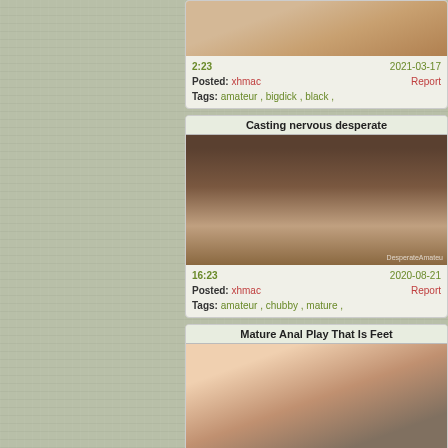[Figure (photo): Thumbnail image partial view at top]
2:23   2021-03-17
Posted: xhmac   Report
Tags: amateur, bigdick, black,
Casting nervous desperate
[Figure (photo): Casting nervous desperate video thumbnail]
16:23   2020-08-21
Posted: xhmac   Report
Tags: amateur, chubby, mature,
Mature Anal Play That Is Feet
[Figure (photo): Mature Anal Play That Is Feet video thumbnail]